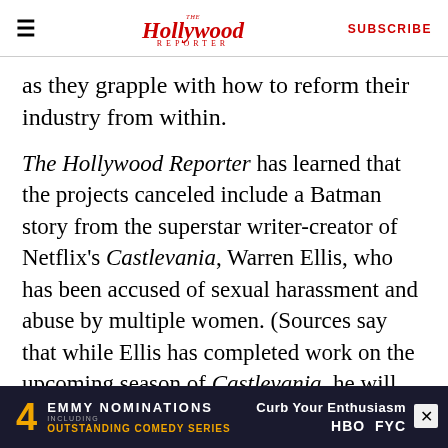The Hollywood Reporter | SUBSCRIBE
as they grapple with how to reform their industry from within.
The Hollywood Reporter has learned that the projects canceled include a Batman story from the superstar writer-creator of Netflix's Castlevania, Warren Ellis, who has been accused of sexual harassment and abuse by multiple women. (Sources say that while Ellis has completed work on the upcoming season of Castlevania, he will not be back for potential future seasons). DC also jettisoned a digital project from artist Cameron Stewart, known for his work on Catwoman, after model Aviva Artzy tweeted that sh
[Figure (advertisement): Emmy Nominations ad: 4 Emmy Nominations including Outstanding Comedy Series — Curb Your Enthusiasm HBO FYC]